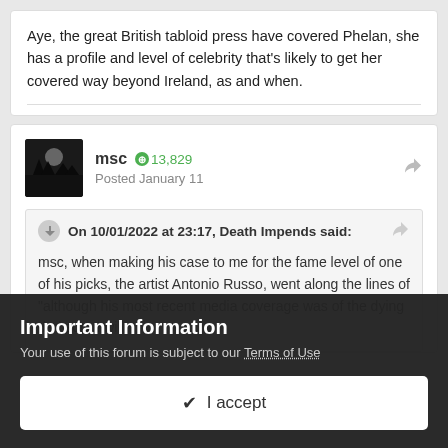Aye, the great British tabloid press have covered Phelan, she has a profile and level of celebrity that's likely to get her covered way beyond Ireland, as and when.
msc   ⊕ 13,829
Posted January 11
On 10/01/2022 at 23:17, Death Impends said:
msc, when making his case to me for the fame level of one of his picks, the artist Antonio Russo, went along the lines of "although his most recent media coverage was of the dying dad sort, I will
Important Information
Your use of this forum is subject to our Terms of Use
✔ I accept